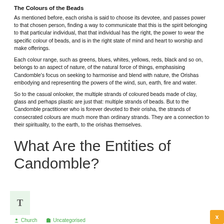The Colours of the Beads
As mentioned before, each orisha is said to choose its devotee, and passes power to that chosen person, finding a way to communicate that this is the spirit belonging to that particular individual, that that individual has the right, the power to wear the specific colour of beads, and is in the right state of mind and heart to worship and make offerings.
Each colour range, such as greens, blues, whites, yellows, reds, black and so on, belongs to an aspect of nature, of the natural force of things, emphasising Candomble's focus on seeking to harmonise and blend with nature, the Orishas embodying and representing the powers of the wind, sun, earth, fire and water.
So to the casual onlooker, the multiple strands of coloured beads made of clay, glass and perhaps plastic are just that: multiple strands of beads. But to the Candomble practitioner who is forever devoted to their orisha, the strands of consecrated colours are much more than ordinary strands. They are a connection to their spirituality, to the earth, to the orishas themselves.
What Are the Entities of Candomble?
Church   Uncategorised